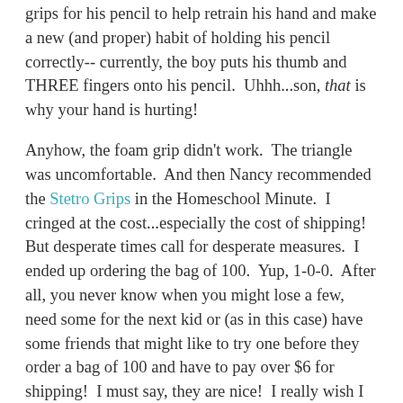grips for his pencil to help retrain his hand and make a new (and proper) habit of holding his pencil correctly-- currently, the boy puts his thumb and THREE fingers onto his pencil.  Uhhh...son, that is why your hand is hurting!
Anyhow, the foam grip didn't work.  The triangle was uncomfortable.  And then Nancy recommended the Stetro Grips in the Homeschool Minute.  I cringed at the cost...especially the cost of shipping!  But desperate times call for desperate measures.  I ended up ordering the bag of 100.  Yup, 1-0-0.  After all, you never know when you might lose a few, need some for the next kid or (as in this case) have some friends that might like to try one before they order a bag of 100 and have to pay over $6 for shipping!  I must say, they are nice!  I really wish I had this a few years ago-- it totally makes sense and forces your hand to hold the pencil the right way.
So dear friends, if you have a child struggling with a proper pencil grip and would like to try this really cool